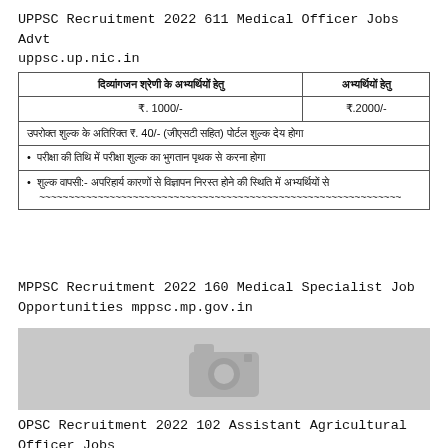UPPSC Recruitment 2022 611 Medical Officer Jobs Advt uppsc.up.nic.in
| दिव्यांगजन श्रेणी के अभ्यर्थियों हेतु | अभ्यर्थियों हेतु |
| --- | --- |
| ₹. 1000/- | ₹.2000/- |
| उपरोक्त शुल्क के अतिरिक्त ₹. 40/- (जीएसटी सहित) पोर्टल शुल्क देय होगा |  |
| • परीक्षा की तिथि में परीक्षा शुल्क का भुगतान पृथक से करना होगा |  |
| • शुल्क वापसी:- अपरिहार्य कारणों से विज्ञापन निरस्त होने की स्थिति में अभ्यर्थियों से... |  |
MPPSC Recruitment 2022 160 Medical Specialist Job Opportunities mppsc.mp.gov.in
[Figure (photo): Gray placeholder image with camera icon, representing a missing image for OPSC Recruitment 2022 article]
OPSC Recruitment 2022 102 Assistant Agricultural Officer Jobs Application Form www.opsc.gov.in